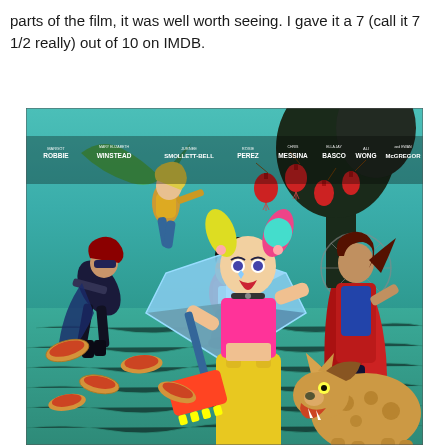parts of the film, it was well worth seeing. I gave it a 7 (call it 7 1/2 really) out of 10 on IMDB.
[Figure (photo): Movie poster for Birds of Prey featuring Margot Robbie as Harley Quinn in yellow overalls holding a mallet, surrounded by the cast including Mary Elizabeth Winstead, Jurnee Smollett-Bell, Rosie Perez, Chris Messina, Ella Jay Basco, Ali Wong, and Ewan McGregor. The poster has a colorful illustrated style with red lanterns, a hyena, hot dogs scattered on a teal background.]